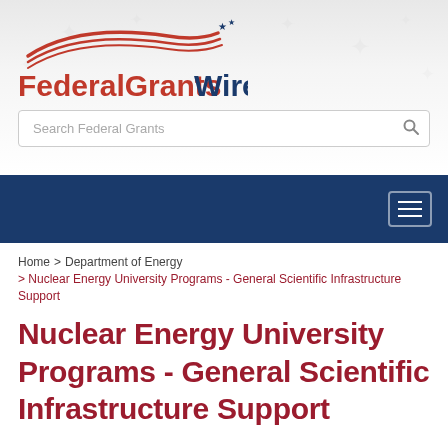[Figure (logo): FederalGrantsWire logo with red swoosh/wave graphic and blue-red text reading FederalGrants in red and Wire in blue with stars]
[Figure (screenshot): Search box with placeholder text 'Search Federal Grants' and a search icon on the right]
[Figure (screenshot): Navy blue navigation bar with hamburger menu button on the right]
Home > Department of Energy > Nuclear Energy University Programs - General Scientific Infrastructure Support
Nuclear Energy University Programs - General Scientific Infrastructure Support